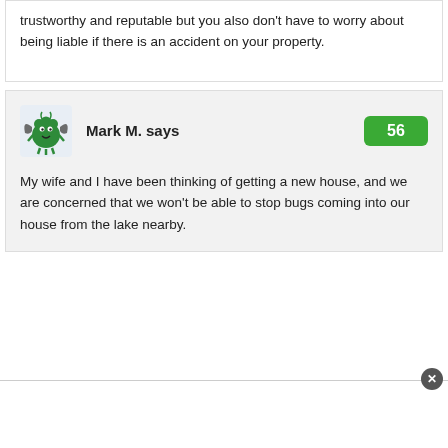trustworthy and reputable but you also don't have to worry about being liable if there is an accident on your property.
Mark M. says
[Figure (illustration): Green cartoon monster avatar with bat wings]
56
My wife and I have been thinking of getting a new house, and we are concerned that we won't be able to stop bugs coming into our house from the lake nearby.